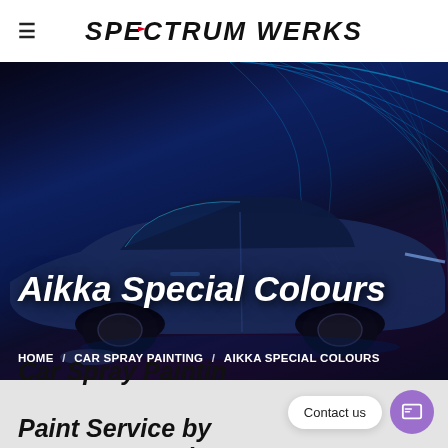≡  SPECTRUM WERKS
[Figure (photo): Dark blue sports car (BMW or similar) photographed at night with neon glowing lines and abstract blue light streaks in the background]
Aikka Special Colours
HOME / CAR SPRAY PAINTING / AIKKA SPECIAL COLOURS
Car Spray Painting with Aikka Paint Service by Spectrum Werks